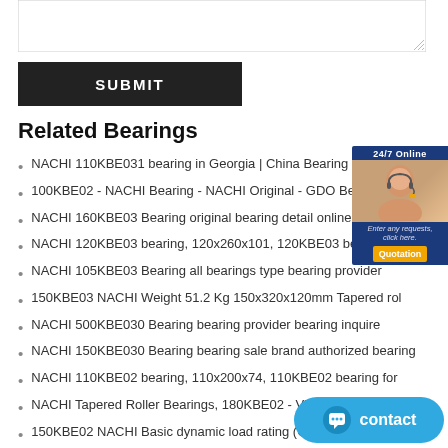[Figure (other): Text area input box with resize handle]
SUBMIT
Related Bearings
NACHI 110KBE031 bearing in Georgia | China Bearing
100KBE02 - NACHI Bearing - NACHI Original - GDO Bearing C
NACHI 160KBE03 Bearing original bearing detail online bearin
NACHI 120KBE03 bearing, 120x260x101, 120KBE03 bearing for
NACHI 105KBE03 Bearing all bearings type bearing provider
150KBE03 NACHI Weight 51.2 Kg 150x320x120mm Tapered rol
NACHI 500KBE030 Bearing bearing provider bearing inquire
NACHI 150KBE030 Bearing bearing sale brand authorized bearing
NACHI 110KBE02 bearing, 110x200x74, 110KBE02 bearing for
NACHI Tapered Roller Bearings, 180KBE02 - Victoria
150KBE02 NACHI Basic dynamic load rating (C) 735 kN
NACHI Roller Bearings 140KBE030 Cylindrical Roller
NACHI 170KBE02 Bearing original bearing distrib... bearing
NACHI 170KBE031 Bearing bearing sale Huge Stocks bearing